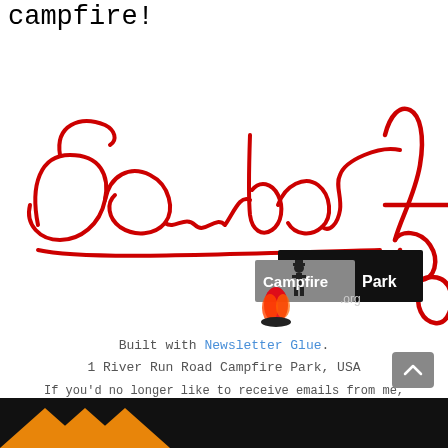campfire!
[Figure (illustration): Red cursive signature reading 'Cowboy' with flourishes, alongside a Campfire Park logo featuring a cowboy silhouette and campfire flame graphic with text 'Campfire Park .org']
Built with Newsletter Glue.
1 River Run Road Campfire Park, USA
If you'd no longer like to receive emails from me, you can unsubscribe here.
[Figure (illustration): Black bottom bar with orange chevron/arrow shapes at the bottom of the page]